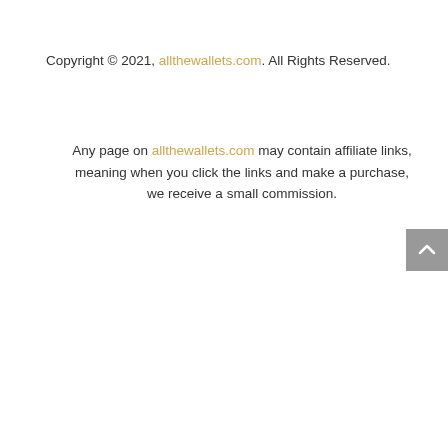Copyright © 2021, allthewallets.com. All Rights Reserved.
Any page on allthewallets.com may contain affiliate links, meaning when you click the links and make a purchase, we receive a small commission.